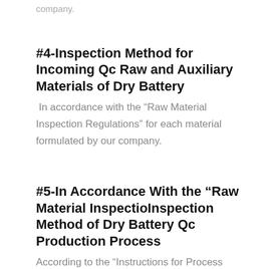company.
#4-Inspection Method for Incoming Qc Raw and Auxiliary Materials of Dry Battery
In accordance with the “Raw Material Inspection Regulations” for each material formulated by our company.
#5-In Accordance With the “Raw Material InspectioInspection Method of Dry Battery Qc Production Process
According to the “Instructions for Process Inspection Operations”